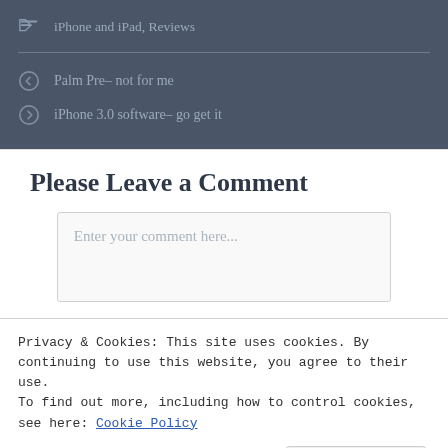iPhone and iPad, Reviews
Palm Pre– not for me
iPhone 3.0 software– go get it
Please Leave a Comment
Enter your comment here...
Privacy & Cookies: This site uses cookies. By continuing to use this website, you agree to their use.
To find out more, including how to control cookies, see here: Cookie Policy
Close and accept
JOIN THE MAILING LIST!